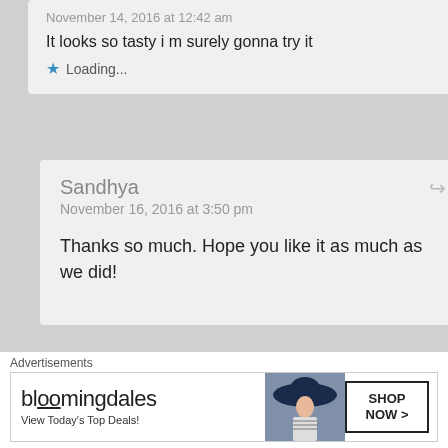November 14, 2016 at 12:42 am
It looks so tasty i m surely gonna try it
Loading...
Sandhya
November 16, 2016 at 3:50 pm
Thanks so much. Hope you like it as much as we did!
momouiforms
Advertisements
[Figure (screenshot): Bloomingdale's advertisement banner with text 'View Today's Top Deals!' and 'SHOP NOW >' button, featuring a woman wearing a wide-brim navy hat]